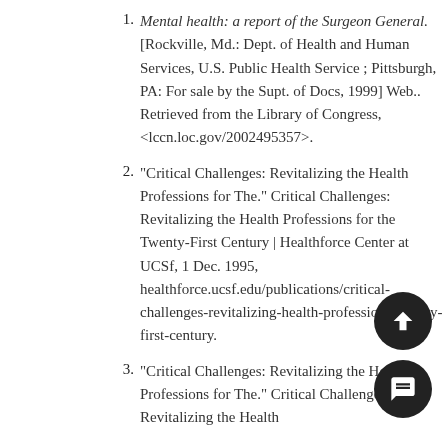Mental health: a report of the Surgeon General. [Rockville, Md.: Dept. of Health and Human Services, U.S. Public Health Service ; Pittsburgh, PA: For sale by the Supt. of Docs, 1999] Web.. Retrieved from the Library of Congress, <lccn.loc.gov/2002495357>.
"Critical Challenges: Revitalizing the Health Professions for The." Critical Challenges: Revitalizing the Health Professions for the Twenty-First Century | Healthforce Center at UCSf, 1 Dec. 1995, healthforce.ucsf.edu/publications/critical-challenges-revitalizing-health-professions-twenty-first-century.
"Critical Challenges: Revitalizing the Health Professions for The." Critical Challenges: Revitalizing the Health